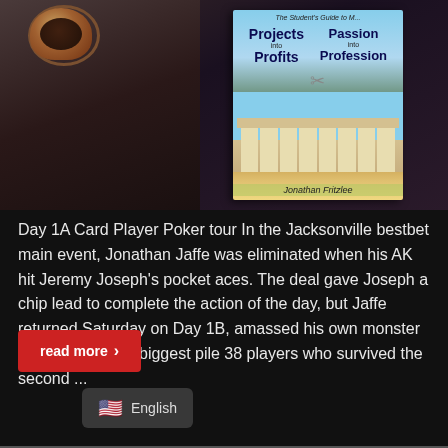[Figure (photo): Photo showing a book titled 'The Student's Guide to Projects into Profits / Passion into Profession' by Jonathan Fritzlee, alongside a coffee cup, on a dark surface.]
Day 1A Card Player Poker tour In the Jacksonville bestbet main event, Jonathan Jaffe was eliminated when his AK hit Jeremy Joseph's pocket aces. The deal gave Joseph a chip lead to complete the action of the day, but Jaffe returned Saturday on Day 1B, amassed his own monster pile and built the biggest pile 38 players who survived the second ...
read more ›
🇺🇸 English